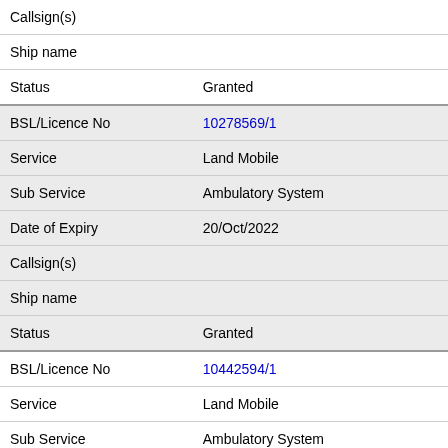| Field | Value |
| --- | --- |
| Callsign(s) |  |
| Ship name |  |
| Status | Granted |
| BSL/Licence No | 10278569/1 |
| Service | Land Mobile |
| Sub Service | Ambulatory System |
| Date of Expiry | 20/Oct/2022 |
| Callsign(s) |  |
| Ship name |  |
| Status | Granted |
| BSL/Licence No | 10442594/1 |
| Service | Land Mobile |
| Sub Service | Ambulatory System |
| Date of Expiry | 20/Oct/2022 |
| Callsign(s) |  |
| Ship name |  |
| Status | Granted |